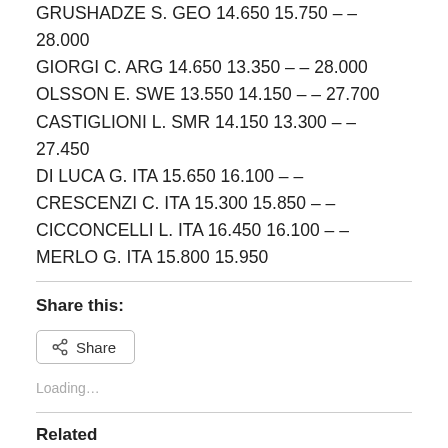GRUSHADZE S. GEO 14.650 15.750 – – 28.000 (partially cropped at top)
GIORGI C. ARG 14.650 13.350 – – 28.000
OLSSON E. SWE 13.550 14.150 – – 27.700
CASTIGLIONI L. SMR 14.150 13.300 – – 27.450
DI LUCA G. ITA 15.650 16.100 – –
CRESCENZI C. ITA 15.300 15.850 – –
CICCONCELLI L. ITA 16.450 16.100 – –
MERLO G. ITA 15.800 15.950
Share this:
Share
Loading...
Related